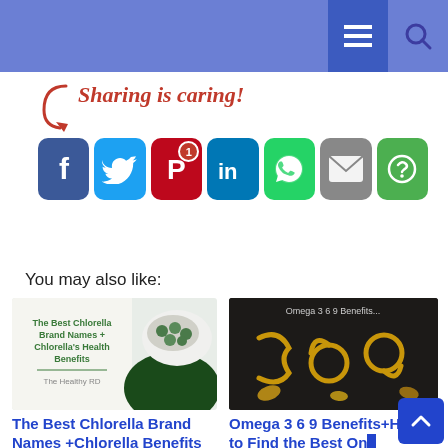Navigation bar with menu and search icons
[Figure (infographic): Sharing is caring social media share buttons: Facebook, Twitter, Pinterest (with badge 1), LinkedIn, WhatsApp, Email, More]
You may also like:
[Figure (photo): Chlorella supplement tablets and powder in a white bowl - article thumbnail for The Best Chlorella Brand Names]
The Best Chlorella Brand Names +Chlorella Benefits for Skin & More
[Figure (photo): Omega 3 6 9 golden gel capsules arranged on dark wood surface - article thumbnail]
Omega 3 6 9 Benefits+How to Find the Best One